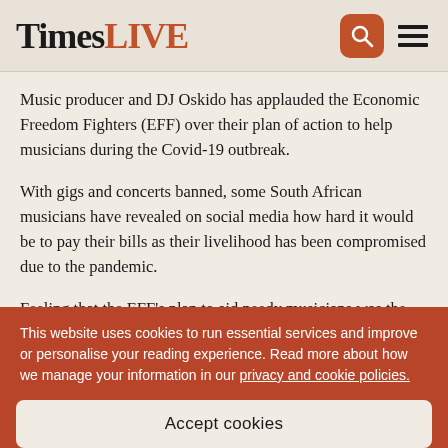Times LIVE
Music producer and DJ Oskido has applauded the Economic Freedom Fighters (EFF) over their plan of action to help musicians during the Covid-19 outbreak.
With gigs and concerts banned, some South African musicians have revealed on social media how hard it would be to pay their bills as their livelihood has been compromised due to the pandemic.
Feeling that the EFF's plan to aid needy musicians was the right approach, Oskido thanked the party's leader, Julius Malema, for wanting to help.
This website uses cookies to run essential services and improve or personalise your reading experience. Read more about how we manage your information in our privacy and cookie policies.
Accept cookies